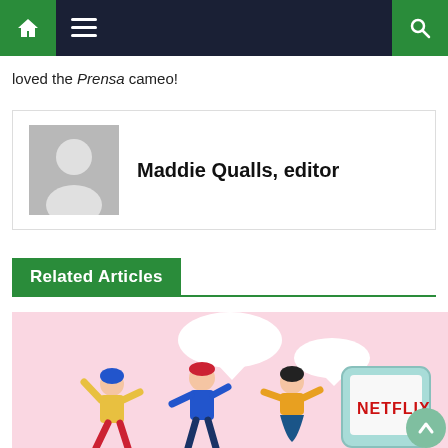Navigation bar with home, menu, and search icons
loved the Prensa cameo!
Maddie Qualls, editor
Related Articles
[Figure (illustration): Illustrated people dancing next to a Netflix logo on a smartphone screen, with speech bubbles, on a pink background]